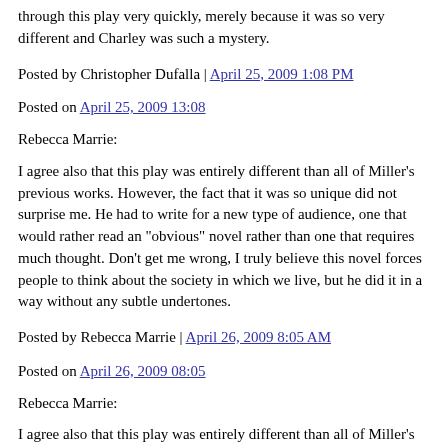through this play very quickly, merely because it was so very different and Charley was such a mystery.
Posted by Christopher Dufalla | April 25, 2009 1:08 PM
Posted on April 25, 2009 13:08
Rebecca Marrie:
I agree also that this play was entirely different than all of Miller's previous works. However, the fact that it was so unique did not surprise me. He had to write for a new type of audience, one that would rather read an "obvious" novel rather than one that requires much thought. Don't get me wrong, I truly believe this novel forces people to think about the society in which we live, but he did it in a way without any subtle undertones.
Posted by Rebecca Marrie | April 26, 2009 8:05 AM
Posted on April 26, 2009 08:05
Rebecca Marrie:
I agree also that this play was entirely different than all of Miller's previous works. However, the fact that it was so unique did not surprise me. He had to write for a new type of audience, one that